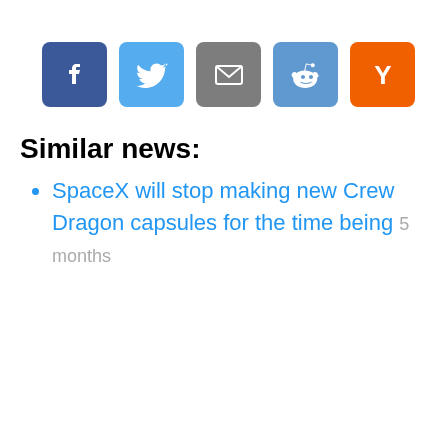[Figure (other): Social sharing buttons row: Facebook (blue), Twitter (light blue), Email (grey), Reddit (blue), Hacker News Y Combinator (orange)]
Similar news:
SpaceX will stop making new Crew Dragon capsules for the time being 5 months